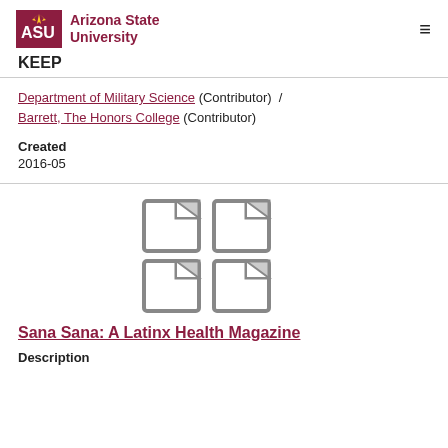ASU Arizona State University | KEEP
Department of Military Science (Contributor) / Barrett, The Honors College (Contributor)
Created
2016-05
[Figure (illustration): Four document/file icons arranged in a 2x2 grid]
Sana Sana: A Latinx Health Magazine
Description